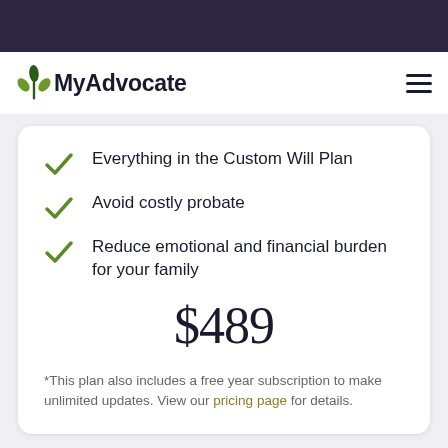MyAdvocate
Everything in the Custom Will Plan
Avoid costly probate
Reduce emotional and financial burden for your family
$489
*This plan also includes a free year subscription to make unlimited updates. View our pricing page for details.